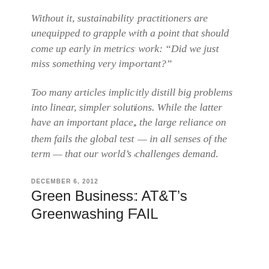Without it, sustainability practitioners are unequipped to grapple with a point that should come up early in metrics work: “Did we just miss something very important?”
Too many articles implicitly distill big problems into linear, simpler solutions. While the latter have an important place, the large reliance on them fails the global test — in all senses of the term — that our world’s challenges demand.
DECEMBER 6, 2012
Green Business: AT&T’s Greenwashing FAIL